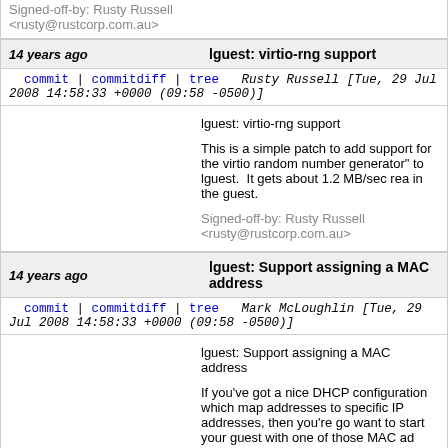Signed-off-by: Rusty Russell <rusty@rustcorp.com.au>
14 years ago   lguest: virtio-rng support
commit | commitdiff | tree   Rusty Russell [Tue, 29 Jul 2008 14:58:33 +0000 (09:58 -0500)]
lguest: virtio-rng support

This is a simple patch to add support for the virtio random number generator" to lguest. It gets about 1.2 MB/sec reading from /dev/random in the guest.

Signed-off-by: Rusty Russell <rusty@rustcorp.com.au>
14 years ago   lguest: Support assigning a MAC address
commit | commitdiff | tree   Mark McLoughlin [Tue, 29 Jul 2008 14:58:33 +0000 (09:58 -0500)]
lguest: Support assigning a MAC address

If you've got a nice DHCP configuration which maps MAC addresses to specific IP addresses, then you're going to want to start your guest with one of those MAC ad

Also, in Fedora, we have persistent network interface names based on the MAC address, so with randomly assigned MAC addresses you're soon going to hit eth13. Who kn